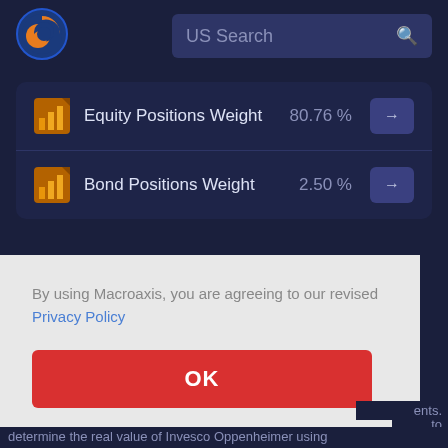[Figure (logo): Macroaxis globe logo — orange and blue circular icon]
US Search
Equity Positions Weight  80.76 %
Bond Positions Weight  2.50 %
By using Macroaxis, you are agreeing to our revised Privacy Policy
OK
ents, to determine the real value of Invesco Oppenheimer using